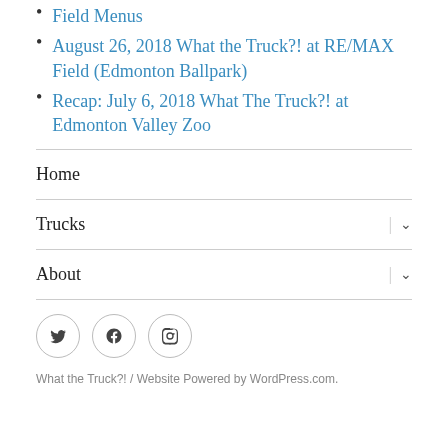Field Menus
August 26, 2018 What the Truck?! at RE/MAX Field (Edmonton Ballpark)
Recap: July 6, 2018 What The Truck?! at Edmonton Valley Zoo
Home
Trucks
About
What the Truck?!  /  Website Powered by WordPress.com.